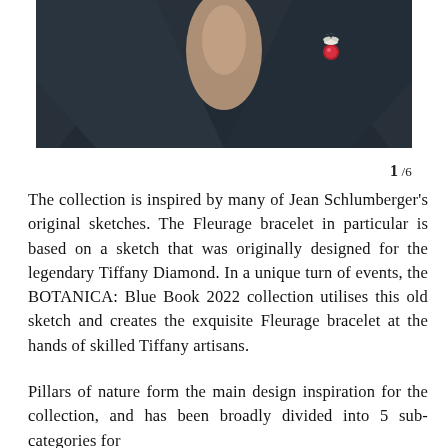[Figure (photo): Close-up photo of a person wearing a dark navy/black blazer with a decorative brooch featuring a red gemstone and white/silver floral or bird motif]
1 /6
The collection is inspired by many of Jean Schlumberger's original sketches. The Fleurage bracelet in particular is based on a sketch that was originally designed for the legendary Tiffany Diamond. In a unique turn of events, the BOTANICA: Blue Book 2022 collection utilises this old sketch and creates the exquisite Fleurage bracelet at the hands of skilled Tiffany artisans.
Pillars of nature form the main design inspiration for the collection, and has been broadly divided into 5 sub-categories for the nature. Trees from old photographs